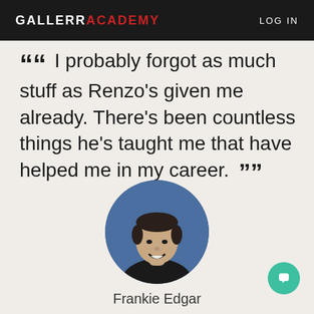GALLERR ACADEMY   LOG IN
“ I probably forgot as much stuff as Renzo's given me already. There’s been countless things he’s taught me that have helped me in my career. ”
[Figure (photo): Circular portrait photo of Frankie Edgar, a man with short dark hair wearing a black shirt, smiling]
Frankie Edgar